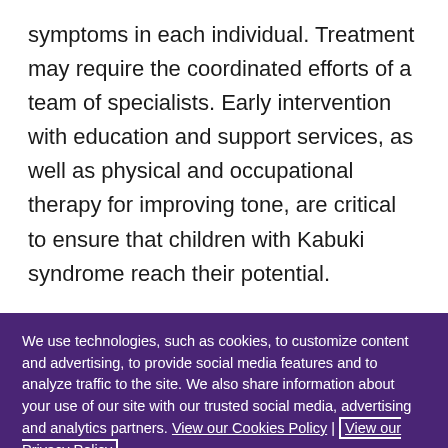symptoms in each individual. Treatment may require the coordinated efforts of a team of specialists. Early intervention with education and support services, as well as physical and occupational therapy for improving tone, are critical to ensure that children with Kabuki syndrome reach their potential.
We use technologies, such as cookies, to customize content and advertising, to provide social media features and to analyze traffic to the site. We also share information about your use of our site with our trusted social media, advertising and analytics partners. View our Cookies Policy | View our Privacy Policy